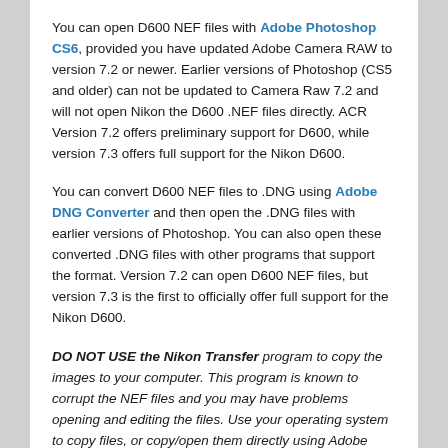You can open D600 NEF files with Adobe Photoshop CS6, provided you have updated Adobe Camera RAW to version 7.2 or newer. Earlier versions of Photoshop (CS5 and older) can not be updated to Camera Raw 7.2 and will not open Nikon the D600 .NEF files directly. ACR Version 7.2 offers preliminary support for D600, while version 7.3 offers full support for the Nikon D600.
You can convert D600 NEF files to .DNG using Adobe DNG Converter and then open the .DNG files with earlier versions of Photoshop. You can also open these converted .DNG files with other programs that support the format. Version 7.2 can open D600 NEF files, but version 7.3 is the first to officially offer full support for the Nikon D600.
DO NOT USE the Nikon Transfer program to copy the images to your computer. This program is known to corrupt the NEF files and you may have problems opening and editing the files. Use your operating system to copy files, or copy/open them directly using Adobe Lightroom or